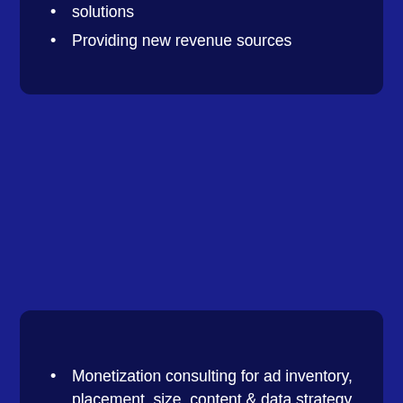solutions
Providing new revenue sources
Monetization consulting for ad inventory, placement, size, content & data strategy and direct sales team
Anti-Adblock solutions
Access to Publisher Dashboard
Consultation and